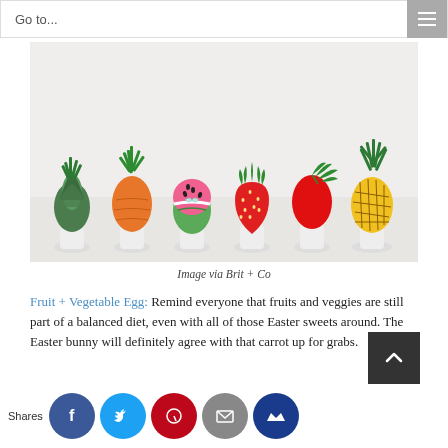Go to...
[Figure (photo): Six Easter eggs decorated as fruits and vegetables — artichoke (green), carrot (orange with green top), watermelon (pink/green), strawberry (red with seeds), red egg with green leaf, and pineapple (yellow) — each sitting in a small white egg cup on a white surface.]
Image via Brit + Co
Fruit + Vegetable Egg: Remind everyone that fruits and veggies are still part of a balanced diet, even with all of those Easter sweets around. The Easter bunny will definitely agree with that carrot up for grabs.
Shares